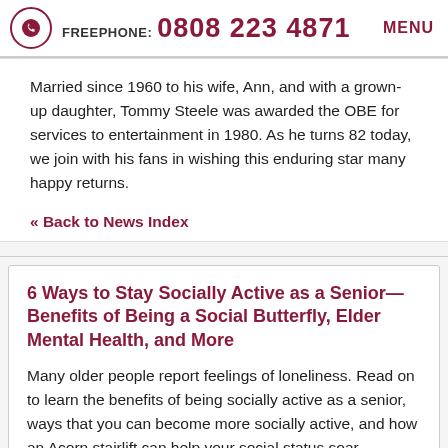FREEPHONE: 0808 223 4871  MENU
Married since 1960 to his wife, Ann, and with a grown-up daughter, Tommy Steele was awarded the OBE for services to entertainment in 1980. As he turns 82 today, we join with his fans in wishing this enduring star many happy returns.
« Back to News Index
6 Ways to Stay Socially Active as a Senior—Benefits of Being a Social Butterfly, Elder Mental Health, and More
Many older people report feelings of loneliness. Read on to learn the benefits of being socially active as a senior, ways that you can become more socially active, and how an Acorn stairlift can help your social status soar—Allowing you to blossom into the beautiful social butterfly that